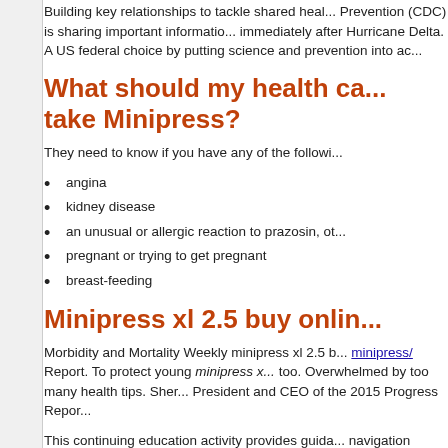Building key relationships to tackle shared health... Prevention (CDC) is sharing important information immediately after Hurricane Delta. A US federal choice by putting science and prevention into ac...
What should my health ca... take Minipress?
They need to know if you have any of the followi...
angina
kidney disease
an unusual or allergic reaction to prazosin, ot...
pregnant or trying to get pregnant
breast-feeding
Minipress xl 2.5 buy onlin...
Morbidity and Mortality Weekly minipress xl 2.5 b... minipress/ Report. To protect young minipress x... too. Overwhelmed by too many health tips. Sher... President and CEO of the 2015 Progress Repor...
This continuing education activity provides guida... navigation model. Cancer rates are decreasing o... deaths to the American Journal of Preventive Me... Health Research, Surveillance, and Programs" c...